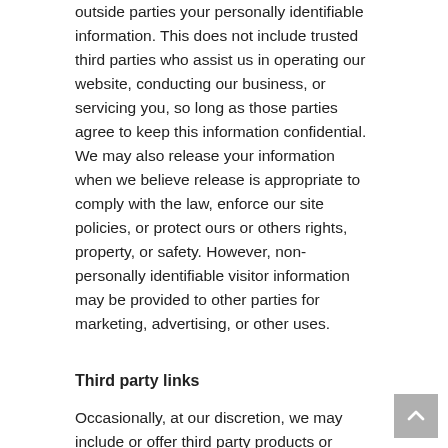outside parties your personally identifiable information. This does not include trusted third parties who assist us in operating our website, conducting our business, or servicing you, so long as those parties agree to keep this information confidential. We may also release your information when we believe release is appropriate to comply with the law, enforce our site policies, or protect ours or others rights, property, or safety. However, non-personally identifiable visitor information may be provided to other parties for marketing, advertising, or other uses.
Third party links
Occasionally, at our discretion, we may include or offer third party products or services on our website. These third party sites have separate and independent privacy